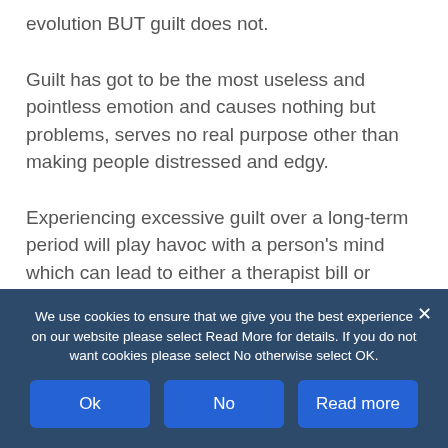evolution BUT guilt does not.
Guilt has got to be the most useless and pointless emotion and causes nothing but problems, serves no real purpose other than making people distressed and edgy.
Experiencing excessive guilt over a long-term period will play havoc with a person’s mind which can lead to either a therapist bill or medication and its inevitable dependency.
We use cookies to ensure that we give you the best experience on our website please select Read More for details. If you do not want cookies please select No otherwise select OK.